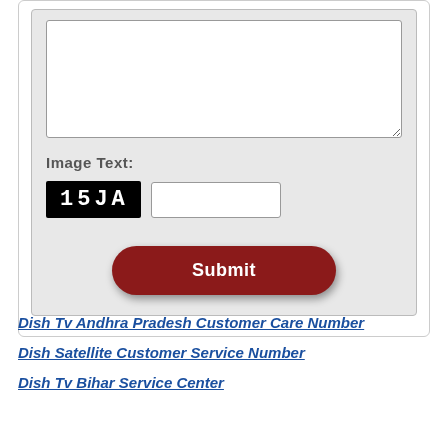[Figure (screenshot): A web form section showing a textarea (empty), a CAPTCHA image displaying '15JA' in white text on black background with an adjacent text input field, and a dark red rounded Submit button centered below.]
Dish Tv Andhra Pradesh Customer Care Number
Dish Satellite Customer Service Number
Dish Tv Bihar Service Center